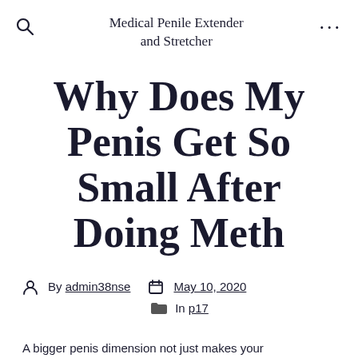Medical Penile Extender and Stretcher
Why Does My Penis Get So Small After Doing Meth
By admin38nse   May 10, 2020   In p17
A bigger penis dimension not just makes your